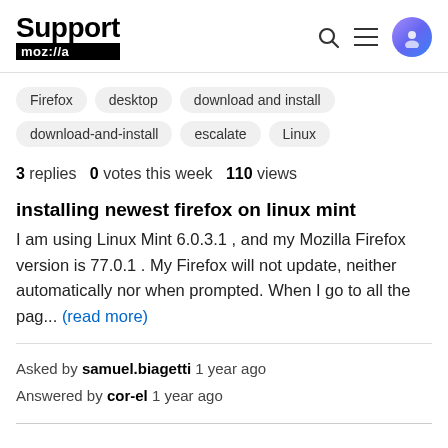Support moz://a
Firefox
desktop
download and install
download-and-install
escalate
Linux
3 replies   0 votes this week   110 views
installing newest firefox on linux mint
I am using Linux Mint 6.0.3.1 , and my Mozilla Firefox version is 77.0.1 . My Firefox will not update, neither automatically nor when prompted. When I go to all the pag... (read more)
Asked by samuel.biagetti 1 year ago
Answered by cor-el 1 year ago